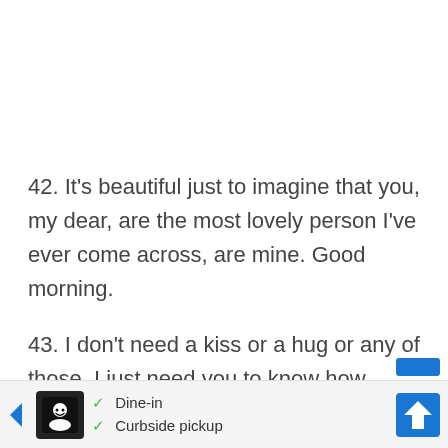42. It's beautiful just to imagine that you, my dear, are the most lovely person I've ever come across, are mine. Good morning.
43. I don't need a kiss or a hug or any of those. I just need you to know how much I love you. Good morning.
[Figure (screenshot): Advertisement banner showing a restaurant icon with checkmarks for 'Dine-in' and 'Curbside pickup', with navigation arrows and a blue direction icon on the right.]